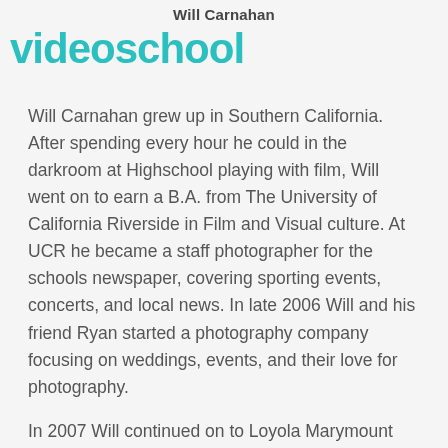Will Carnahan
[Figure (logo): Video School watermark logo in teal/turquoise text overlaid on the page]
Will Carnahan grew up in Southern California. After spending every hour he could in the darkroom at Highschool playing with film, Will went on to earn a B.A. from The University of California Riverside in Film and Visual culture. At UCR he became a staff photographer for the schools newspaper, covering sporting events, concerts, and local news. In late 2006 Will and his friend Ryan started a photography company focusing on weddings, events, and their love for photography.
In 2007 Will continued on to Loyola Marymount University, earning an M.F.A. in Film and Television Production. While...